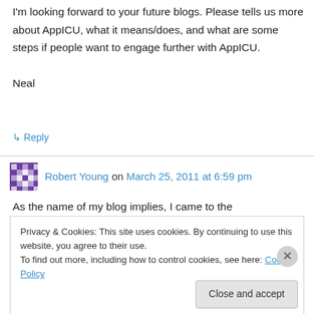I'm looking forward to your future blogs. Please tells us more about AppICU, what it means/does, and what are some steps if people want to engage further with AppICU.

Neal
↳ Reply
Robert Young on March 25, 2011 at 6:59 pm
As the name of my blog implies, I came to the
Privacy & Cookies: This site uses cookies. By continuing to use this website, you agree to their use.
To find out more, including how to control cookies, see here: Cookie Policy
Close and accept